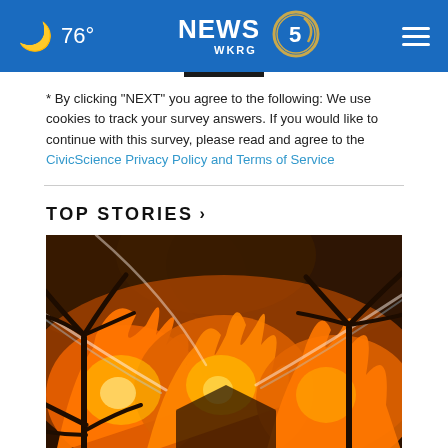76° NEWS 5 WKRG
* By clicking "NEXT" you agree to the following: We use cookies to track your survey answers. If you would like to continue with this survey, please read and agree to the CivicScience Privacy Policy and Terms of Service
TOP STORIES ›
[Figure (photo): A large fire at night with intense orange and yellow flames engulfing structures and palm trees, with water streams visible being sprayed at the fire.]